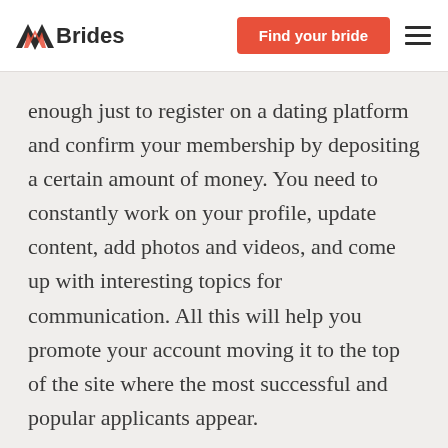AABrides | Find your bride
enough just to register on a dating platform and confirm your membership by depositing a certain amount of money. You need to constantly work on your profile, update content, add photos and videos, and come up with interesting topics for communication. All this will help you promote your account moving it to the top of the site where the most successful and popular applicants appear.
It is like climbing a mountain with an edelweiss growing on top of it. Despite the fact that you are out of breath and have made lot of efforts, you